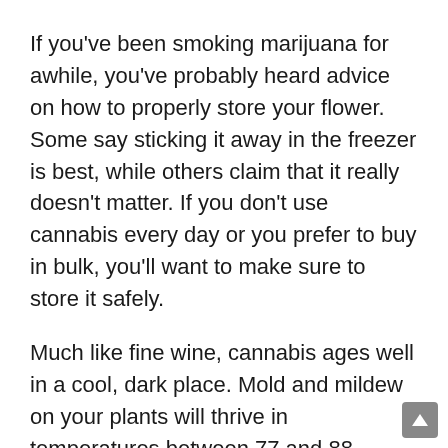If you've been smoking marijuana for awhile, you've probably heard advice on how to properly store your flower. Some say sticking it away in the freezer is best, while others claim that it really doesn't matter. If you don't use cannabis every day or you prefer to buy in bulk, you'll want to make sure to store it safely.
Much like fine wine, cannabis ages well in a cool, dark place. Mold and mildew on your plants will thrive in temperatures between 77 and 88 degrees Fahrenheit, and they also love humidity. Excessive heat exposure will cause the cannabinoids and terpenes that have taken months to develop to dry out.
Two other factors to consider are light and air. Harmful UV rays break down many organic and synthetic materials, and they will degrade your cannabis products over time. And while cannabis needs plenty of oxygen to grow, too much air...